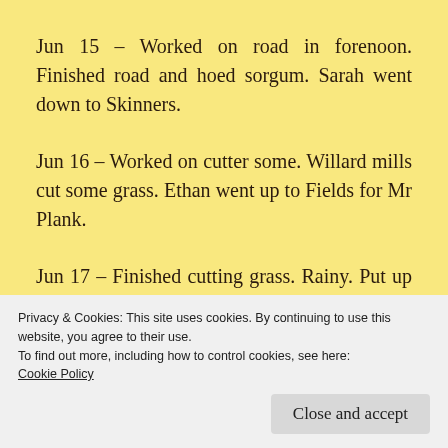Jun 15 – Worked on road in forenoon. Finished road and hoed sorgum. Sarah went down to Skinners.
Jun 16 – Worked on cutter some. Willard mills cut some grass. Ethan went up to Fields for Mr Plank.
Jun 17 – Finished cutting grass. Rainy. Put up some hay for A Brown. Catharine and Lucy
Privacy & Cookies: This site uses cookies. By continuing to use this website, you agree to their use.
To find out more, including how to control cookies, see here:
Cookie Policy
Close and accept
All well.